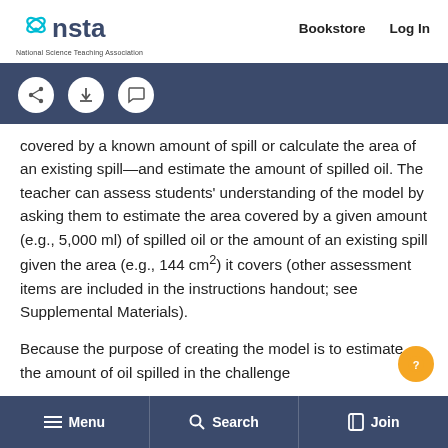NSTA – National Science Teaching Association | Bookstore  Log In
[Figure (screenshot): NSTA website header with logo and icon toolbar (share, download, comment buttons)]
covered by a known amount of spill or calculate the area of an existing spill—and estimate the amount of spilled oil. The teacher can assess students' understanding of the model by asking them to estimate the area covered by a given amount (e.g., 5,000 ml) of spilled oil or the amount of an existing spill given the area (e.g., 144 cm²) it covers (other assessment items are included in the instructions handout; see Supplemental Materials).
Because the purpose of creating the model is to estimate the amount of oil spilled in the challenge
☰ Menu    🔍 Search    Join